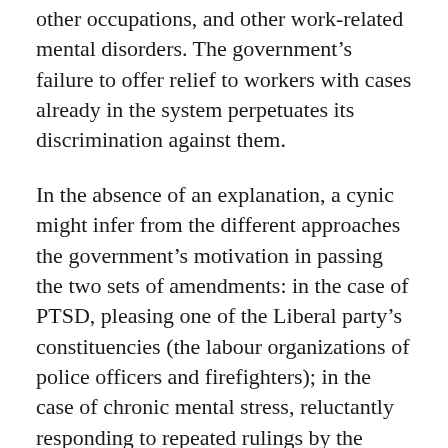other occupations, and other work-related mental disorders. The government's failure to offer relief to workers with cases already in the system perpetuates its discrimination against them.
In the absence of an explanation, a cynic might infer from the different approaches the government's motivation in passing the two sets of amendments: in the case of PTSD, pleasing one of the Liberal party's constituencies (the labour organizations of police officers and firefighters); in the case of chronic mental stress, reluctantly responding to repeated rulings by the Tribunal that legislation is unconstitutional.